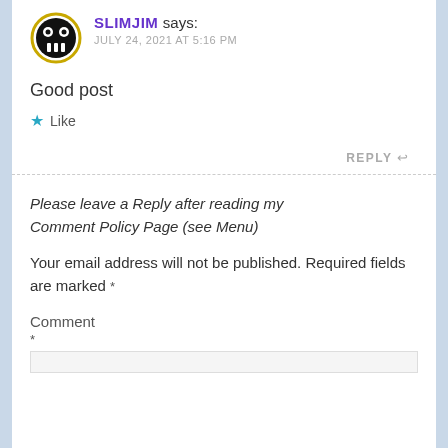[Figure (illustration): Avatar icon: circular badge with two circular eyes and three vertical bar shapes, black and white design with yellow/gold ring outline]
SLIMJIM says:
JULY 24, 2021 AT 5:16 PM
Good post
★ Like
REPLY ↩
Please leave a Reply after reading my Comment Policy Page (see Menu)
Your email address will not be published. Required fields are marked *
Comment *